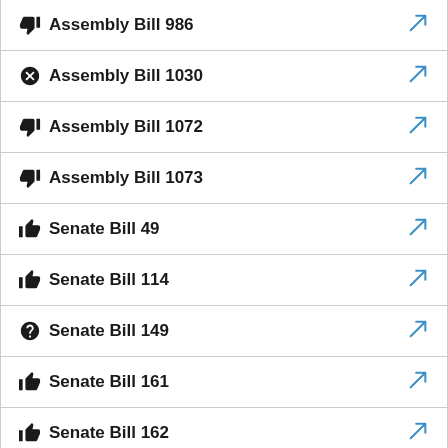Assembly Bill 986
Assembly Bill 1030
Assembly Bill 1072
Assembly Bill 1073
Senate Bill 49
Senate Bill 114
Senate Bill 149
Senate Bill 161
Senate Bill 162